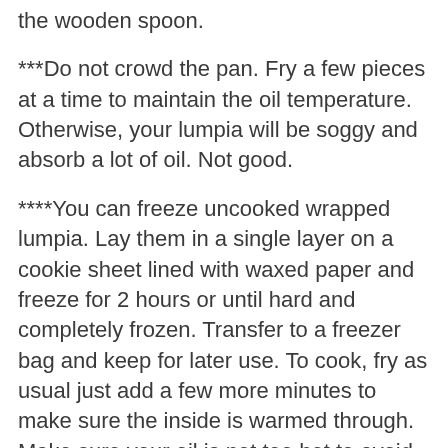the wooden spoon.
***Do not crowd the pan. Fry a few pieces at a time to maintain the oil temperature. Otherwise, your lumpia will be soggy and absorb a lot of oil. Not good.
****You can freeze uncooked wrapped lumpia. Lay them in a single layer on a cookie sheet lined with waxed paper and freeze for 2 hours or until hard and completely frozen. Transfer to a freezer bag and keep for later use. To cook, fry as usual just add a few more minutes to make sure the inside is warmed through. Make sure your oil is not too hot to avoid burning the outside before the inside is warm.